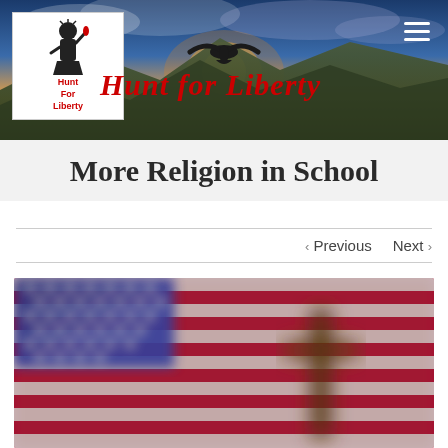[Figure (photo): Website header banner with a bald eagle flying over a mountain landscape at sunset, dramatic cloudy sky. 'Hunt For Liberty' logo on the left (white box with Statue of Liberty torch illustration and red text), italic red cursive text 'Hunt For Liberty' in the banner, and a hamburger menu icon on the right.]
More Religion in School
< Previous   Next >
[Figure (photo): Blurred photograph showing an American flag (stars and stripes) in the background with a wooden cross in the foreground, both out of focus.]